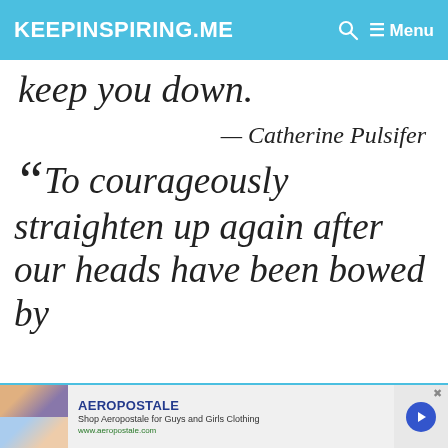KEEPINSPIRING.ME
keep you down.
— Catherine Pulsifer
“To courageously straighten up again after our heads have been bowed by
[Figure (screenshot): Aeropostale advertisement banner at the bottom of the page]